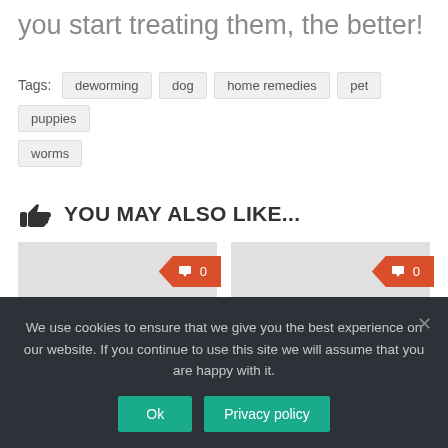you start treating them, the better!
Tags: deworming  dog  home remedies  pet  puppies  worms
YOU MAY ALSO LIKE...
[Figure (other): Two article preview cards each with an orange comment badge showing 0 comments]
We use cookies to ensure that we give you the best experience on our website. If you continue to use this site we will assume that you are happy with it.
Ok  Privacy policy